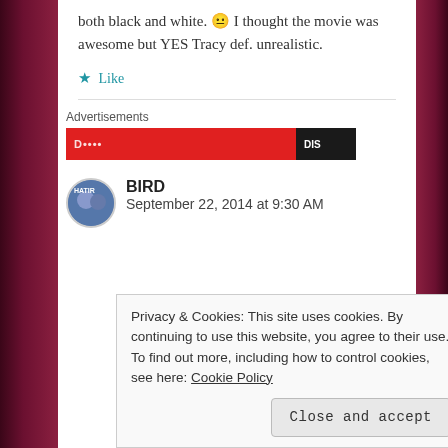both black and white. 😐 I thought the movie was awesome but YES Tracy def. unrealistic.
★ Like
[Figure (infographic): Advertisement banner: red background with dark section showing partial text/logo]
BIRD
September 22, 2014 at 9:30 AM
Privacy & Cookies: This site uses cookies. By continuing to use this website, you agree to their use.
To find out more, including how to control cookies, see here: Cookie Policy
Close and accept